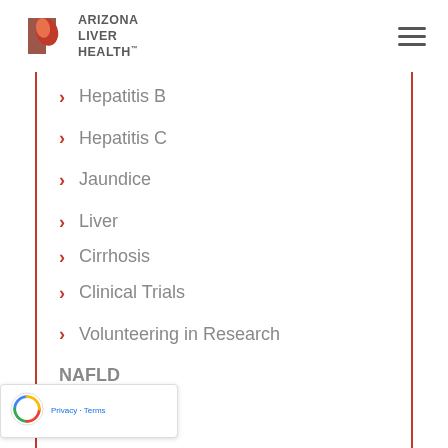Arizona Liver Health
Hepatitis B
Hepatitis C
Jaundice
Liver
Cirrhosis
Clinical Trials
Volunteering in Research
NAFLD
NASH